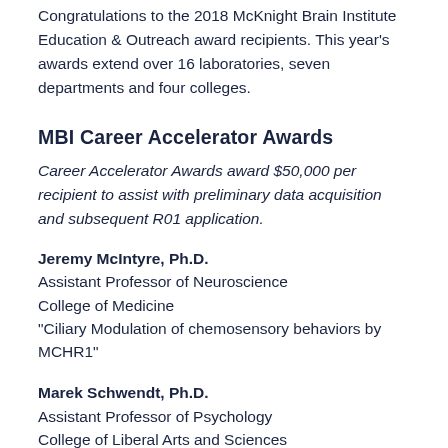Congratulations to the 2018 McKnight Brain Institute Education & Outreach award recipients. This year's awards extend over 16 laboratories, seven departments and four colleges.
MBI Career Accelerator Awards
Career Accelerator Awards award $50,000 per recipient to assist with preliminary data acquisition and subsequent R01 application.
Jeremy McIntyre, Ph.D.
Assistant Professor of Neuroscience
College of Medicine
“Ciliary Modulation of chemosensory behaviors by MCHR1”
Marek Schwendt, Ph.D.
Assistant Professor of Psychology
College of Liberal Arts and Sciences
“Targeting mGlu5 receptor-protein interactions in the